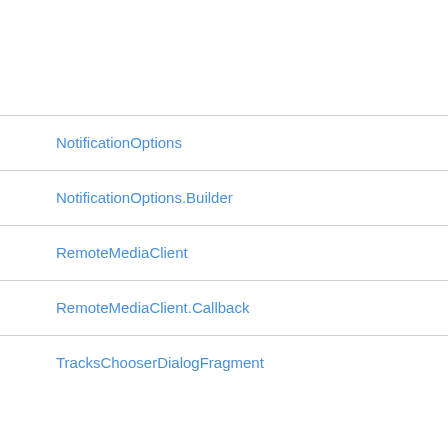NotificationOptions
NotificationOptions.Builder
RemoteMediaClient
RemoteMediaClient.Callback
TracksChooserDialogFragment